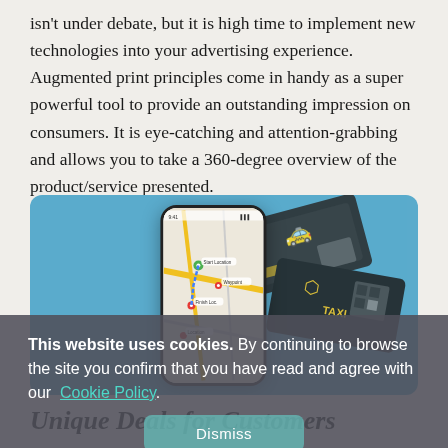isn't under debate, but it is high time to implement new technologies into your advertising experience. Augmented print principles come in handy as a super powerful tool to provide an outstanding impression on consumers. It is eye-catching and attention-grabbing and allows you to take a 360-degree overview of the product/service presented.
[Figure (screenshot): A smartphone held in a hand displaying a map app with route markers, overlaid on blurred dark business cards with yellow taxi/car icons and QR codes on a blue background. A cookie consent banner overlays the bottom portion.]
This website uses cookies. By continuing to browse the site you confirm that you have read and agree with our Cookie Policy.
Unique Deals for Customers